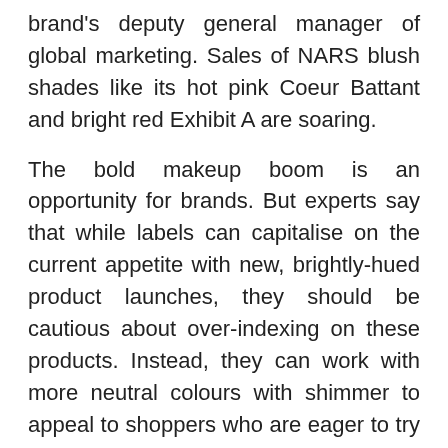brand's deputy general manager of global marketing. Sales of NARS blush shades like its hot pink Coeur Battant and bright red Exhibit A are soaring.
The bold makeup boom is an opportunity for brands. But experts say that while labels can capitalise on the current appetite with new, brightly-hued product launches, they should be cautious about over-indexing on these products. Instead, they can work with more neutral colours with shimmer to appeal to shoppers who are eager to try brighter beauty looks but don't want a full “Euphoria” face.
What's Driving the Shift for Bold
The surge of bold makeup represents a major